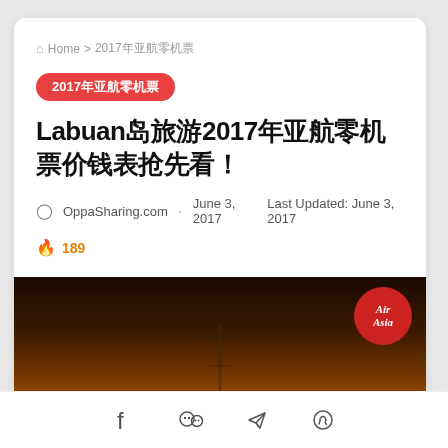Home > 2017年亚航零机票
Labuan岛旅游2017年亚航零机票价钱表抢先看
OppaSharing.com · June 3, 2017  Last Updated: June 3, 2017
🔥 189
[Figure (photo): AirAsia promotional banner with airplane silhouette at sunset and text '2017年第二季 AirAsia Zero Fares 2017 Price Lists 零机票【价钱表】抢先看！']
Social share icons: Facebook, WeChat, Telegram, WhatsApp